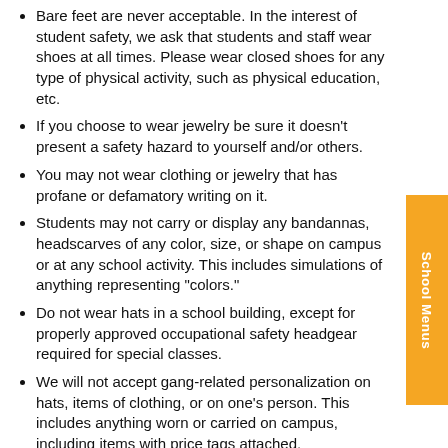Bare feet are never acceptable. In the interest of student safety, we ask that students and staff wear shoes at all times. Please wear closed shoes for any type of physical activity, such as physical education, etc.
If you choose to wear jewelry be sure it doesn't present a safety hazard to yourself and/or others.
You may not wear clothing or jewelry that has profane or defamatory writing on it.
Students may not carry or display any bandannas, headscarves of any color, size, or shape on campus or at any school activity. This includes simulations of anything representing "colors."
Do not wear hats in a school building, except for properly approved occupational safety headgear required for special classes.
We will not accept gang-related personalization on hats, items of clothing, or on one's person. This includes anything worn or carried on campus, including items with price tags attached.
We expressly prohibit obscene language or symbols, or symbols relating to drugs, drug use, sex, sexual innuendo, sexual activity, or alcohol on any clothing.